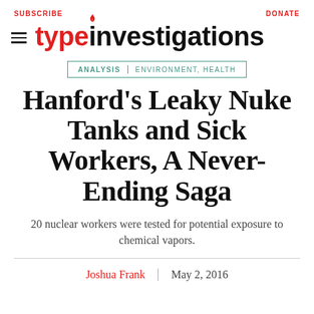SUBSCRIBE | DONATE
[Figure (logo): Type Investigations logo with hamburger menu icon and flame above the letter i]
ANALYSIS | ENVIRONMENT, HEALTH
Hanford's Leaky Nuke Tanks and Sick Workers, A Never-Ending Saga
20 nuclear workers were tested for potential exposure to chemical vapors.
Joshua Frank | May 2, 2016